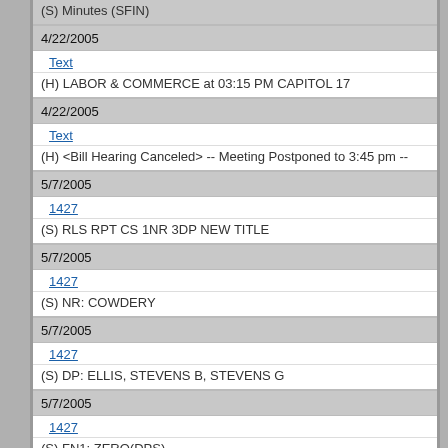(S) Minutes (SFIN)
4/22/2005
Text
(H) LABOR & COMMERCE at 03:15 PM CAPITOL 17
4/22/2005
Text
(H) <Bill Hearing Canceled> -- Meeting Postponed to 3:45 pm --
5/7/2005
1427
(S) RLS RPT CS 1NR 3DP NEW TITLE
5/7/2005
1427
(S) NR: COWDERY
5/7/2005
1427
(S) DP: ELLIS, STEVENS B, STEVENS G
5/7/2005
1427
(S) FN1: ZERO(DPS)
5/7/2005
1427